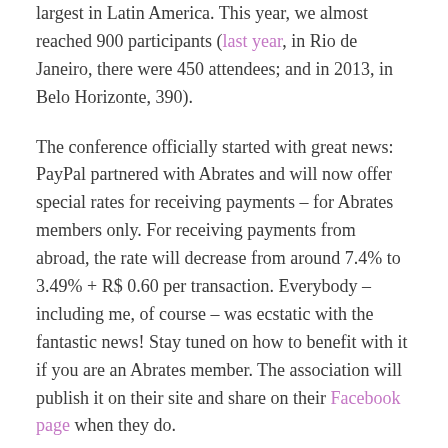largest in Latin America. This year, we almost reached 900 participants (last year, in Rio de Janeiro, there were 450 attendees; and in 2013, in Belo Horizonte, 390).

The conference officially started with great news: PayPal partnered with Abrates and will now offer special rates for receiving payments – for Abrates members only. For receiving payments from abroad, the rate will decrease from around 7.4% to 3.49% + R$ 0.60 per transaction. Everybody – including me, of course – was ecstatic with the fantastic news! Stay tuned on how to benefit with it if you are an Abrates member. The association will publish it on their site and share on their Facebook page when they do.